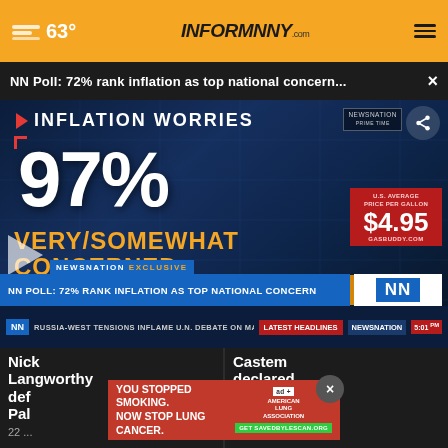☁ 63° | INFORMNNY.com | ≡
NN Poll: 72% rank inflation as top national concern... ×
[Figure (screenshot): NewsNation TV broadcast screenshot showing 'INFLATION WORRIES' headline, '97% VERY/SOMEWHAT CONCERNED', 'NN POLL: 72% RANK INFLATION AS TOP NATIONAL CONCERN' lower-third banner, gas price box showing $4.95 U.S. average price per gallon from GasBuddy.com, NEWSNATION EXCLUSIVE badge, play button, and bottom ticker: RUSSIA-WEST TENSIONS INFLAME U.N. DEBATE ON MALI PEACEKEI | LATEST HEADLINES | NEWSNATION]
Nick Langworthy def... Pal...
Castem declared ... -21 ... Dei...
[Figure (infographic): Red advertisement banner: YOU STOPPED SMOKING. NOW STOP LUNG CANCER. with American Lung Association logo and Get SAVEDBYLESCAN.ORG CTA]